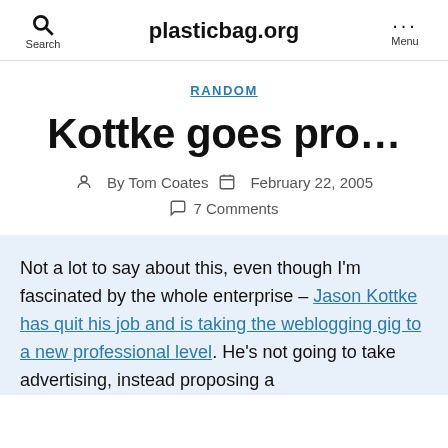plasticbag.org
RANDOM
Kottke goes pro…
By Tom Coates  February 22, 2005
7 Comments
Not a lot to say about this, even though I'm fascinated by the whole enterprise – Jason Kottke has quit his job and is taking the weblogging gig to a new professional level. He's not going to take advertising, instead proposing a